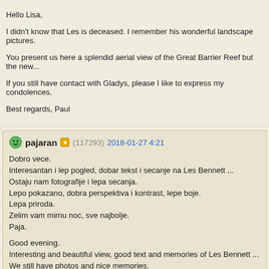Hello Lisa,
I didn't know that Les is deceased. I remember his wonderful landscape pictures.
You present us here a splendid aerial view of the Great Barrier Reef but the new...
If you still have contact with Gladys, please I like to express my condolences.
Best regards, Paul
pajaran (117293) 2018-01-27 4:21
Dobro vece.
Interesantan i lep pogled, dobar tekst i secanje na Les Bennett ...
Ostaju nam fotografije i lepa secanja.
Lepo pokazano, dobra perspektiva i kontrast, lepe boje.
Lepa priroda.
Zelim vam mirnu noc, sve najbolje.
Paja.

Good evening.
Interesting and beautiful view, good text and memories of Les Bennett ...
We still have photos and nice memories.
Beautifully shown, good perspective and contrast, beautiful colors.
Beautiful nature.
I wish you a quiet night, all the best.
Silvio1953 (223207) 2018-01-27 4:35
Ciao cara Lisa è sempre un piacere rivedere le tue magnifiche foto, peccato che...